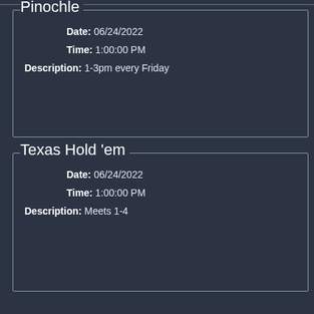Pinochle
Date: 06/24/2022
Time: 1:00:00 PM
Description: 1-3pm every Friday
Texas Hold 'em
Date: 06/24/2022
Time: 1:00:00 PM
Description: Meets 1-4